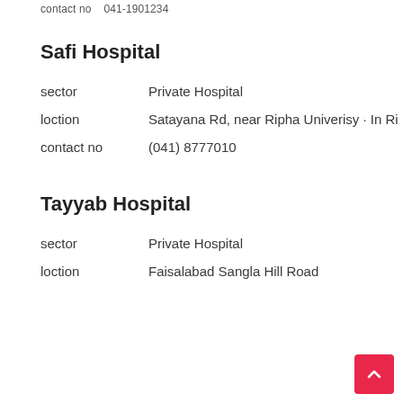contact no   041-1901234
Safi Hospital
sector    Private Hospital
loction    Satayana Rd, near Ripha Univerisy · In Ri
contact no   (041) 8777010
Tayyab Hospital
sector    Private Hospital
loction    Faisalabad Sangla Hill Road